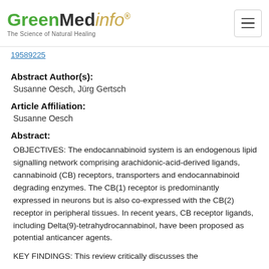GreenMedinfo — The Science of Natural Healing
19589225
Abstract Author(s):
Susanne Oesch, Jürg Gertsch
Article Affiliation:
Susanne Oesch
Abstract:
OBJECTIVES: The endocannabinoid system is an endogenous lipid signalling network comprising arachidonic-acid-derived ligands, cannabinoid (CB) receptors, transporters and endocannabinoid degrading enzymes. The CB(1) receptor is predominantly expressed in neurons but is also co-expressed with the CB(2) receptor in peripheral tissues. In recent years, CB receptor ligands, including Delta(9)-tetrahydrocannabinol, have been proposed as potential anticancer agents.
KEY FINDINGS: This review critically discusses the